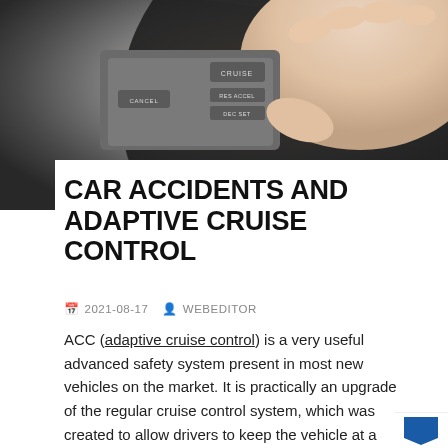[Figure (photo): Close-up photo of a hand gripping a steering wheel with cruise control buttons visible, including CRUISE, CANCEL, RES/ACCEL, and DEC/SET buttons on a dark steering wheel stalk.]
CAR ACCIDENTS AND ADAPTIVE CRUISE CONTROL
2021-08-17   WEBEDITOR
ACC (adaptive cruise control) is a very useful advanced safety system present in most new vehicles on the market. It is practically an upgrade of the regular cruise control system, which was created to allow drivers to keep the vehicle at a constant speed without having to press the accelerator pedal.